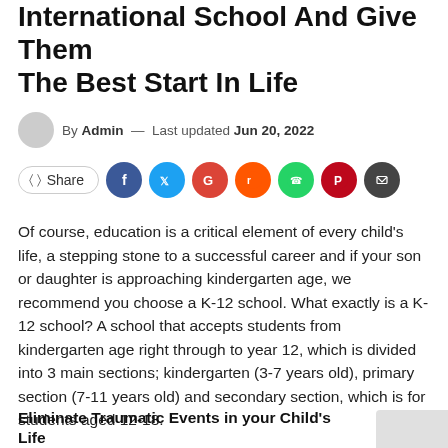International School And Give Them The Best Start In Life
By Admin — Last updated Jun 20, 2022
Of course, education is a critical element of every child's life, a stepping stone to a successful career and if your son or daughter is approaching kindergarten age, we recommend you choose a K-12 school. What exactly is a K-12 school? A school that accepts students from kindergarten age right through to year 12, which is divided into 3 main sections; kindergarten (3-7 years old), primary section (7-11 years old) and secondary section, which is for students aged 12-18.
Eliminate Traumatic Events in your Child's Life